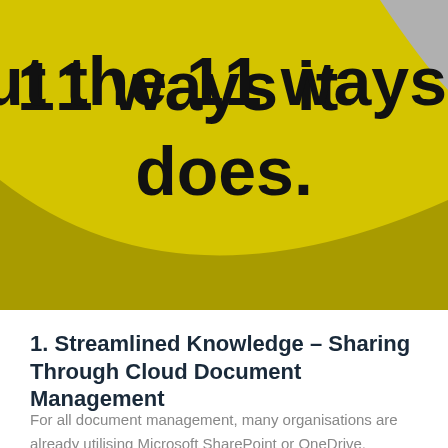[Figure (illustration): Yellow and olive-green sweeping curved banner background with a small grey shape in the top right corner, containing large bold black text reading 'out the 11 ways it does.']
1. Streamlined Knowledge – Sharing Through Cloud Document Management
For all document management, many organisations are already utilising Microsoft SharePoint or OneDrive.